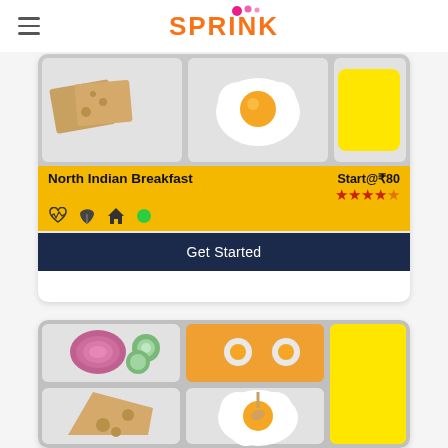SPRINK (logo)
[Figure (screenshot): Food tray illustration for North Indian Breakfast - card 1 top portion showing bread/cracker, fried egg, and yellow item]
North Indian Breakfast
Start@₹80
★★★★☆ (4 stars)
[Figure (illustration): Icons row: heart rate icon, leaf icon, home icon, green circle]
Get Started
[Figure (illustration): Food tray illustration for second meal card - showing onion/cucumber salad, eggs on toast, yellow item, bread/cheese, fried egg with spoon, yellow item]